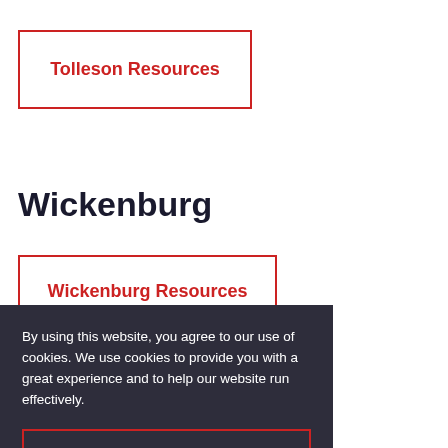[Figure (other): Red-bordered button labeled Tolleson Resources]
Wickenburg
[Figure (other): Red-bordered button labeled Wickenburg Resources]
By using this website, you agree to our use of cookies. We use cookies to provide you with a great experience and to help our website run effectively.
[Figure (other): Red-bordered Accept button on dark background cookie consent overlay]